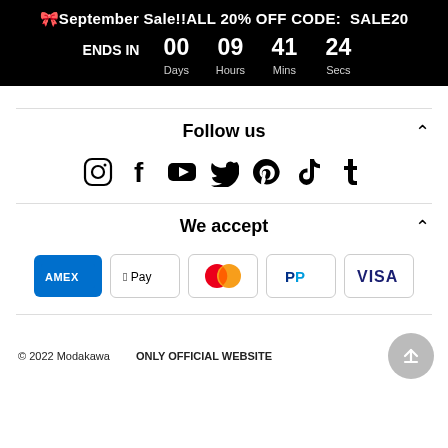🎀September Sale!!ALL 20% OFF CODE:  SALE20 ENDS IN  00  09  41  24  Days  Hours  Mins  Secs
Follow us
[Figure (infographic): Social media icons: Instagram, Facebook, YouTube, Twitter, Pinterest, TikTok, Tumblr]
We accept
[Figure (infographic): Payment method icons: American Express, Apple Pay, Mastercard, PayPal, Visa]
© 2022 Modakawa    ONLY OFFICIAL WEBSITE